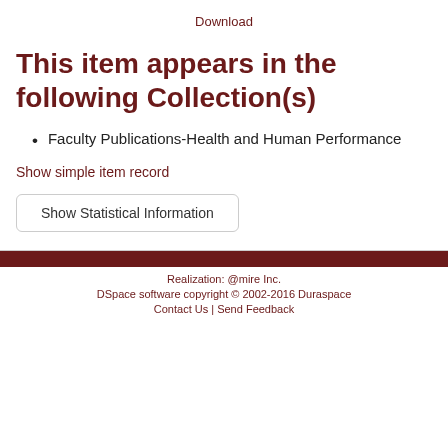Download
This item appears in the following Collection(s)
Faculty Publications-Health and Human Performance
Show simple item record
Show Statistical Information
Realization: @mire Inc.
DSpace software copyright © 2002-2016 Duraspace
Contact Us | Send Feedback